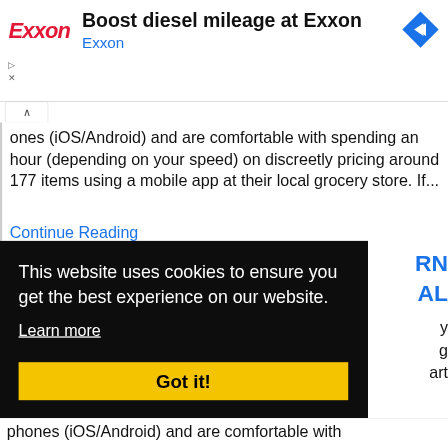[Figure (screenshot): Exxon advertisement banner with Exxon logo in red italic, headline 'Boost diesel mileage at Exxon', blue text 'Exxon', and a blue diamond navigation icon on the right]
ones (iOS/Android) and are comfortable with spending an hour (depending on your speed) on discreetly pricing around 177 items using a mobile app at their local grocery store. If...
Continue Reading
This website uses cookies to ensure you get the best experience on our website.
Learn more
Got it!
phones (iOS/Android) and are comfortable with